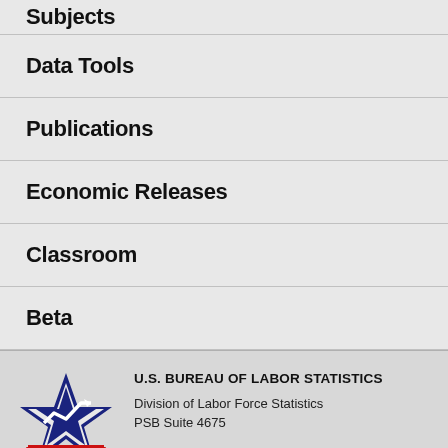Subjects
Data Tools
Publications
Economic Releases
Classroom
Beta
[Figure (logo): U.S. Bureau of Labor Statistics logo with blue star and red stripes with an upward trending arrow]
U.S. BUREAU OF LABOR STATISTICS
Division of Labor Force Statistics
PSB Suite 4675